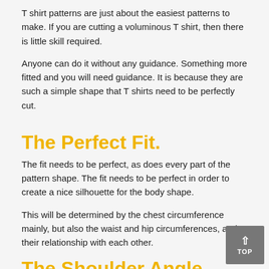T shirt patterns are just about the easiest patterns to make. If you are cutting a voluminous T shirt, then there is little skill required.
Anyone can do it without any guidance. Something more fitted and you will need guidance. It is because they are such a simple shape that T shirts need to be perfectly cut.
The Perfect Fit.
The fit needs to be perfect, as does every part of the pattern shape. The fit needs to be perfect in order to create a nice silhouette for the body shape.
This will be determined by the chest circumference mainly, but also the waist and hip circumferences, and their relationship with each other.
The Shoulder Angle